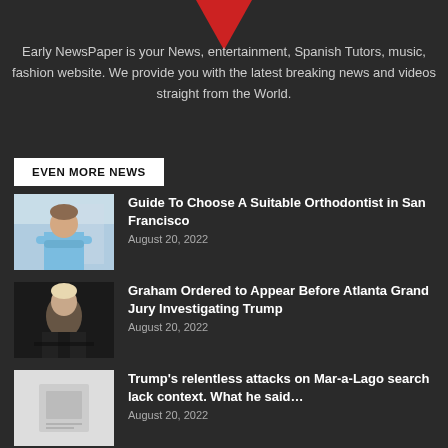[Figure (illustration): Red downward-pointing triangle/chevron logo at top center]
Early NewsPaper is your News, entertainment, Spanish Tutors, music, fashion website. We provide you with the latest breaking news and videos straight from the World.
EVEN MORE NEWS
[Figure (photo): Photo of a man in blue scrubs with arms crossed, likely a medical professional or orthodontist]
Guide To Choose A Suitable Orthodontist in San Francisco
August 20, 2022
[Figure (photo): Photo of an older man at a podium or speaking event, dark background]
Graham Ordered to Appear Before Atlanta Grand Jury Investigating Trump
August 20, 2022
[Figure (photo): Light-colored image, partially visible news article thumbnail]
Trump’s relentless attacks on Mar-a-Lago search lack context. What he said…
August 20, 2022